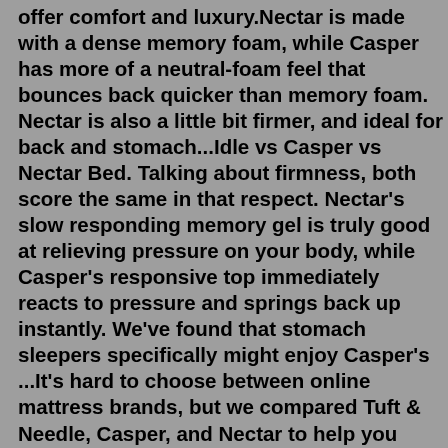offer comfort and luxury.Nectar is made with a dense memory foam, while Casper has more of a neutral-foam feel that bounces back quicker than memory foam. Nectar is also a little bit firmer, and ideal for back and stomach...Idle vs Casper vs Nectar Bed. Talking about firmness, both score the same in that respect. Nectar's slow responding memory gel is truly good at relieving pressure on your body, while Casper's responsive top immediately reacts to pressure and springs back up instantly. We've found that stomach sleepers specifically might enjoy Casper's ...It's hard to choose between online mattress brands, but we compared Tuft & Needle, Casper, and Nectar to help you decide which mattress is right for you. Many or all of the products featured here are from our partners who compensate us. This may influence which products we write about and where and how the product appears on a page.Jul 13, 2022 · Nectar Sleep offers a lifetime warranty for the mattress. This warranty is not prorated. During the first year, Nectar Sleep will replace or repair the...